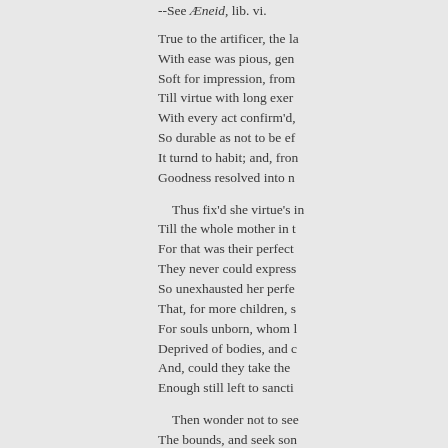--See Æneid, lib. vi.
True to the artificer, the la
With ease was pious, gen
Soft for impression, from
Till virtue with long exer
With every act confirm'd,
So durable as not to be ef
It turnd to habit; and, fron
Goodness resolved into n
Thus fix'd she virtue's in
Till the whole mother in t
For that was their perfect
They never could express
So unexhausted her perfe
That, for more children, s
For souls unborn, whom l
Deprived of bodies, and c
And, could they take the 
Enough still left to sancti
Then wonder not to see
The bounds, and seek son
As swelling seas to gen